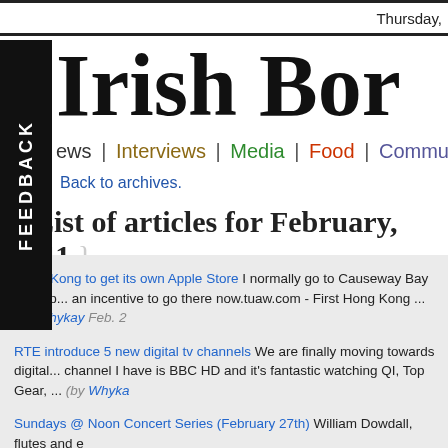Thursday,
Irish Bor
ews | Interviews | Media | Food | Community
Back to archives.
{ List of articles for February, 2011 }
Hong Kong to get its own Apple Store I normally go to Causeway Bay for App... an incentive to go there now.tuaw.com - First Hong Kong ... (by Whykay Feb. 2
RTE introduce 5 new digital tv channels We are finally moving towards digital... channel I have is BBC HD and it's fantastic watching QI, Top Gear, ... (by Whyka
Sundays @ Noon Concert Series (February 27th) William Dowdall, flutes and e
A father and son reunited with the help of social networking A touching story... nightmare of having a child kidnapped, as was the case with a little boy who